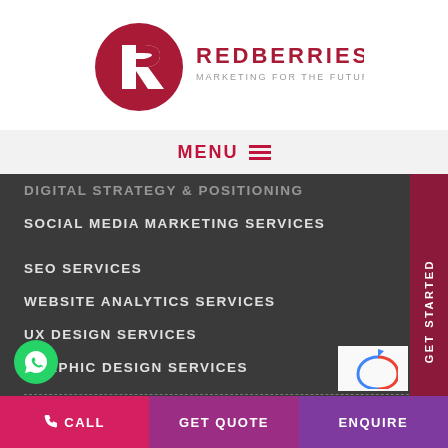[Figure (logo): Redberries logo — dark red circle with stylized R/arrow, text REDBERRIES MARKETING FOR THE FUTURE]
MENU ≡
DIGITAL STRATEGY & POSITIONING
SOCIAL MEDIA MARKETING SERVICES
SEO SERVICES
WEBSITE ANALYTICS SERVICES
UX DESIGN SERVICES
GRAPHIC DESIGN SERVICES
CAREERS
GET STARTED
CALL
GET QUOTE
ENQUIRE